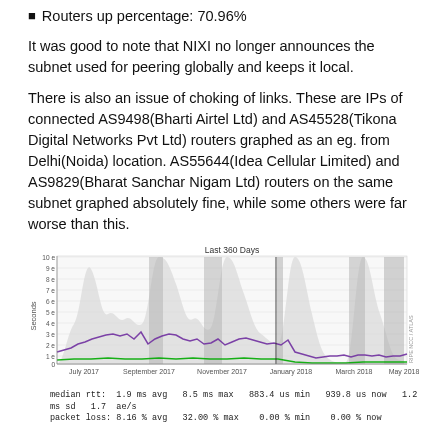Routers up percentage: 70.96%
It was good to note that NIXI no longer announces the subnet used for peering globally and keeps it local.
There is also an issue of choking of links. These are IPs of connected AS9498(Bharti Airtel Ltd) and AS45528(Tikona Digital Networks Pvt Ltd) routers graphed as an eg. from Delhi(Noida) location. AS55644(Idea Cellular Limited) and AS9829(Bharat Sanchar Nigam Ltd) routers on the same subnet graphed absolutely fine, while some others were far worse than this.
[Figure (continuous-plot): Time-series line/area chart titled 'Last 360 Days' showing RTT in seconds over approximately July 2017 to May 2018. Y-axis labeled 'Seconds' with values from 0 to 10e. Multiple overlapping series shown in grey, purple, and green. Statistics shown below: median rtt: 1.9 ms avg, 8.5 ms max, 883.4 us min, 939.8 us now, 1.2 ms sd, 1.7 ae/s; packet loss: 8.16% avg, 32.00% max, 0.00% min, 0.00% now.]
median rtt:  1.9 ms avg   8.5 ms max   883.4 us min   939.8 us now   1.2 ms sd   1.7  ae/s
packet loss: 8.16 % avg  32.00 % max   0.00 % min   0.00 % now